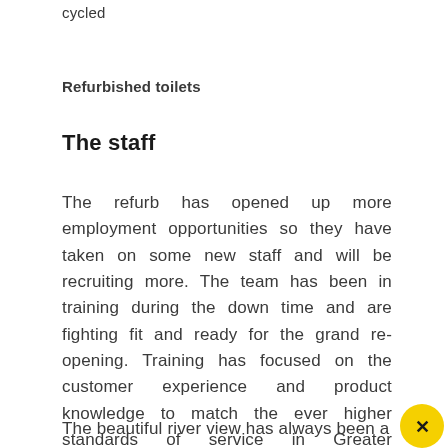cycled
Refurbished toilets
The staff
The refurb has opened up more employment opportunities so they have taken on some new staff and will be recruiting more. The team has been in training during the down time and are fighting fit and ready for the grand re-opening. Training has focused on the customer experience and product knowledge to match the ever higher standards of service in Greater Manchester.
The beautiful river view has always been a draw